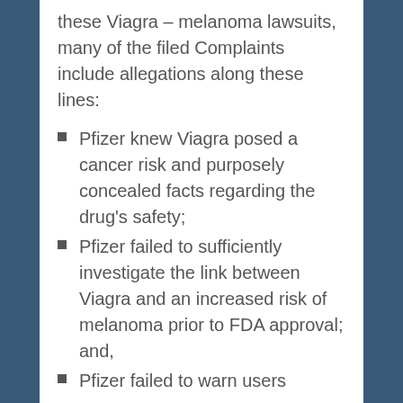these Viagra – melanoma lawsuits, many of the filed Complaints include allegations along these lines:
Pfizer knew Viagra posed a cancer risk and purposely concealed facts regarding the drug's safety;
Pfizer failed to sufficiently investigate the link between Viagra and an increased risk of melanoma prior to FDA approval; and,
Pfizer failed to warn users